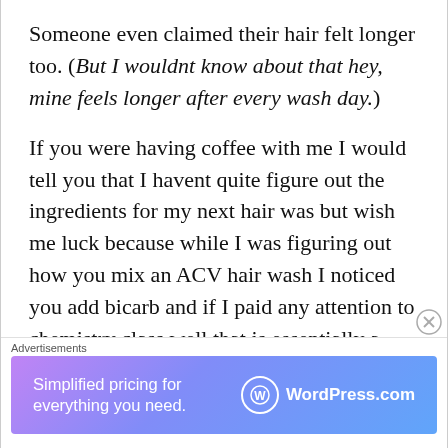Someone even claimed their hair felt longer too. (But I wouldnt know about that hey, mine feels longer after every wash day.)
If you were having coffee with me I would tell you that I havent quite figure out the ingredients for my next hair was but wish me luck because while I was figuring out how you mix an ACV hair wash I noticed you add bicarb and if I paid any attention to chemistry class well that is essentially a
Advertisements
[Figure (other): WordPress.com advertisement banner with gradient purple-blue background. Text reads 'Simplified pricing for everything you need.' with WordPress.com logo on the right.]